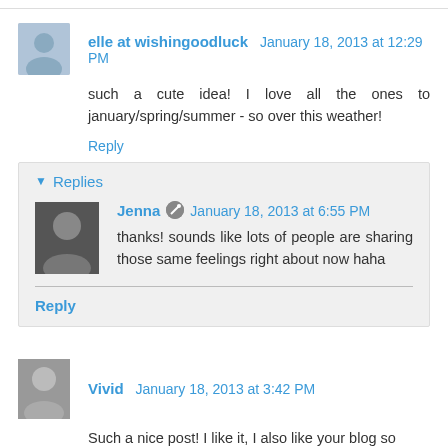elle at wishingoodluck  January 18, 2013 at 12:29 PM
such a cute idea! I love all the ones to january/spring/summer - so over this weather!
Reply
Replies
Jenna  January 18, 2013 at 6:55 PM
thanks! sounds like lots of people are sharing those same feelings right about now haha
Reply
Vivid  January 18, 2013 at 3:42 PM
Such a nice post! I like it, I also like your blog so much! : )
Reply